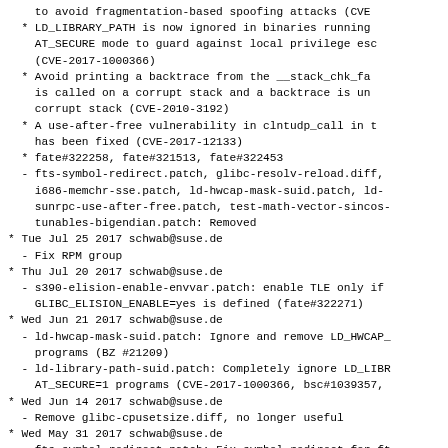to avoid fragmentation-based spoofing attacks (CVE
* LD_LIBRARY_PATH is now ignored in binaries running
    AT_SECURE mode to guard against local privilege esc
    (CVE-2017-1000366)
* Avoid printing a backtrace from the __stack_chk_fa
    is called on a corrupt stack and a backtrace is un
    corrupt stack (CVE-2010-3192)
* A use-after-free vulnerability in clntudp_call in
    has been fixed (CVE-2017-12133)
* fate#322258, fate#321513, fate#322453
- fts-symbol-redirect.patch, glibc-resolv-reload.diff,
    i686-memchr-sse.patch, ld-hwcap-mask-suid.patch, ld-
    sunrpc-use-after-free.patch, test-math-vector-sincos
    tunables-bigendian.patch: Removed
* Tue Jul 25 2017 schwab@suse.de
  - Fix RPM group
* Thu Jul 20 2017 schwab@suse.de
  - s390-elision-enable-envvar.patch: enable TLE only if
    GLIBC_ELISION_ENABLE=yes is defined (fate#322271)
* Wed Jun 21 2017 schwab@suse.de
  - ld-hwcap-mask-suid.patch: Ignore and remove LD_HWCAP
    programs (BZ #21209)
  - ld-library-path-suid.patch: Completely ignore LD_LIB
    AT_SECURE=1 programs (CVE-2017-1000366, bsc#1039357,
* Wed Jun 14 2017 schwab@suse.de
  - Remove glibc-cpusetsize.diff, no longer useful
* Wed May 31 2017 schwab@suse.de
  - fts-symbol-redirect.patch: Fix symbol redirect for f
    BZ #21289)
* Mon May 29 2017 schwab@suse.de